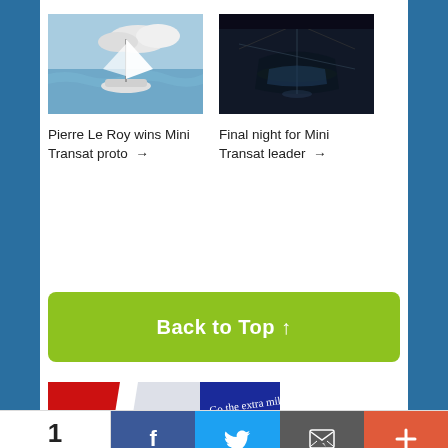[Figure (photo): Sailing boat with white sail on ocean waves, aerial view]
Pierre Le Roy wins Mini Transat proto →
[Figure (photo): Aerial night view of boats on dark water]
Final night for Mini Transat leader →
[Figure (other): Green button labeled Back to Top with upward arrow]
[Figure (photo): Banner with red, white and blue colors with Go the extra mile text]
1 SHARES
[Figure (other): Social sharing bar with Facebook, Twitter, Email, and More buttons]